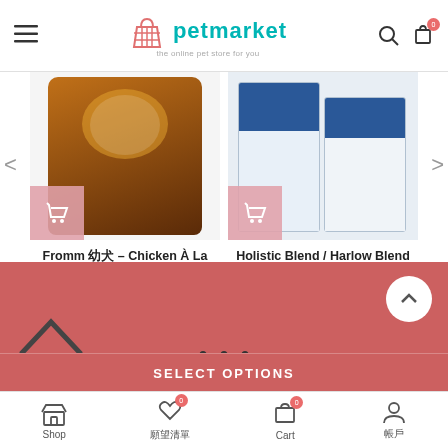petmarket - the online pet store for you
[Figure (photo): Product image for Fromm - Chicken À La Veg dog food, dark brown bag with orange accent]
Fromm 幼犬 – Chicken À La Veg 無穀物狗糧[多種規格]
$171.00 – $702.00
[Figure (photo): Product image for Holistic Blend / Harlow Blend dog food, white and blue packaging with dog photo]
Holistic Blend / Harlow Blend 幼犬 – 無穀物狗糧[多種]
$246.00 – $1,777.00
SELECT OPTIONS
Shop  |  願望清單  |  Cart  |  帳戶